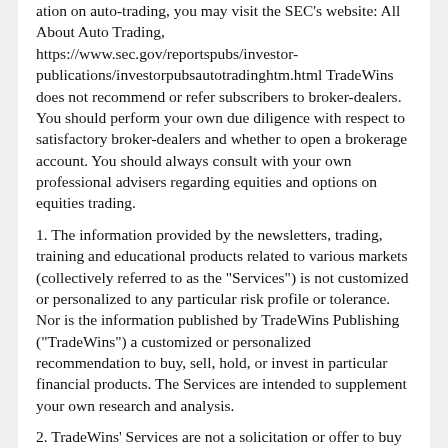ation on auto-trading, you may visit the SEC's website: All About Auto Trading, https://www.sec.gov/reportspubs/investor-publications/investorpubsautotradinghtm.html TradeWins does not recommend or refer subscribers to broker-dealers. You should perform your own due diligence with respect to satisfactory broker-dealers and whether to open a brokerage account. You should always consult with your own professional advisers regarding equities and options on equities trading.
1. The information provided by the newsletters, trading, training and educational products related to various markets (collectively referred to as the "Services") is not customized or personalized to any particular risk profile or tolerance. Nor is the information published by TradeWins Publishing ("TradeWins") a customized or personalized recommendation to buy, sell, hold, or invest in particular financial products. The Services are intended to supplement your own research and analysis.
2. TradeWins' Services are not a solicitation or offer to buy or sell any financial products, and the Services are not intended to provide money management advice or services.